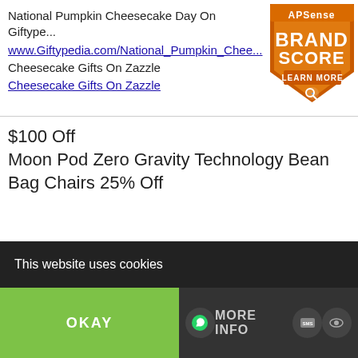National Pumpkin Cheesecake Day On Giftype...
www.Giftypedia.com/National_Pumpkin_Chee...
Cheesecake Gifts On Zazzle
Cheesecake Gifts On Zazzle
[Figure (logo): APSense Brand Score badge - orange shield with white text reading BRAND SCORE and LEARN MORE with a magnifying glass icon]
$100 Off
Moon Pod Zero Gravity Technology Bean Bag Chairs 25% Off
[Figure (photo): A blue/gray badge showing 25% Off, and a person sitting in a Moon Pod bean bag chair]
This website uses cookies
OKAY
MORE INFO